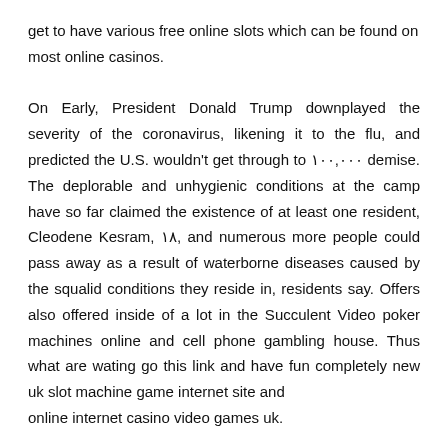get to have various free online slots which can be found on most online casinos.

On Early, President Donald Trump downplayed the severity of the coronavirus, likening it to the flu, and predicted the U.S. wouldn't get through to ۱۰۰,۰۰۰ demise. The deplorable and unhygienic conditions at the camp have so far claimed the existence of at least one resident, Cleodene Kesram, ۱۸, and numerous more people could pass away as a result of waterborne diseases caused by the squalid conditions they reside in, residents say. Offers also offered inside of a lot in the Succulent Video poker machines online and cell phone gambling house. Thus what are wating go this link and have fun completely new uk slot machine game internet site and online internet casino video games uk.